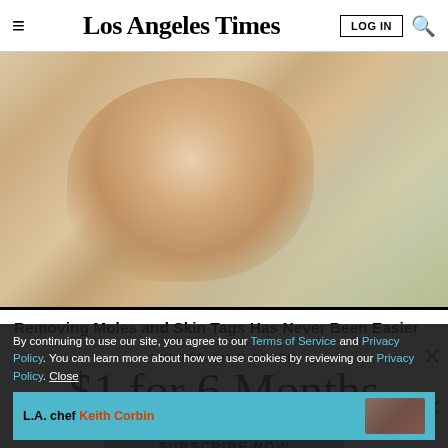Los Angeles Times
[Figure (photo): Close-up side profile photo of a person's jawline and neck area, showing skin texture]
Removing Moles and Skin Tags Has Never Been Easier
LIMITED-TIME OFFER
$1 for 6 Months
SUBSCRIBE NOW
By continuing to use our site, you agree to our Terms of Service and Privacy Policy. You can learn more about how we use cookies by reviewing our Privacy Policy. Close
[Figure (photo): Promotional banner for L.A. chef Keith Corbin story]
L.A. chef Keith Corbin